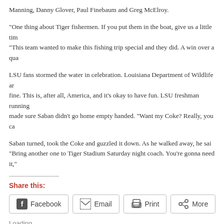Manning, Danny Glover, Paul Finebaum and Greg McElroy.
“One thing about Tiger fishermen. If you put them in the boat, give us a little tim…” “This team wanted to make this fishing trip special and they did. A win over a qua…
LSU fans stormed the water in celebration. Louisiana Department of Wildlife ar… fine. This is, after all, America, and it’s okay to have fun. LSU freshman running… made sure Saban didn’t go home empty handed. “Want my Coke? Really, you ca…
Saban turned, took the Coke and guzzled it down. As he walked away, he sai… “Bring another one to Tiger Stadium Saturday night coach. You’re gonna need it,”
Share this:
[Figure (other): Share buttons: Facebook, Email, Print, More]
Loading...
Related
Fish for Victory – 2013
November 6, 2013
It’s here:
Novem…